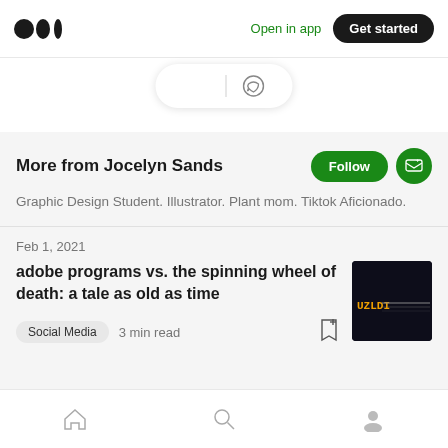Medium logo | Open in app | Get started
[Figure (screenshot): Action bar with clap and comment icons]
More from Jocelyn Sands
Graphic Design Student. Illustrator. Plant mom. Tiktok Aficionado.
Feb 1, 2021
adobe programs vs. the spinning wheel of death: a tale as old as time
Social Media   3 min read
Home | Search | Profile